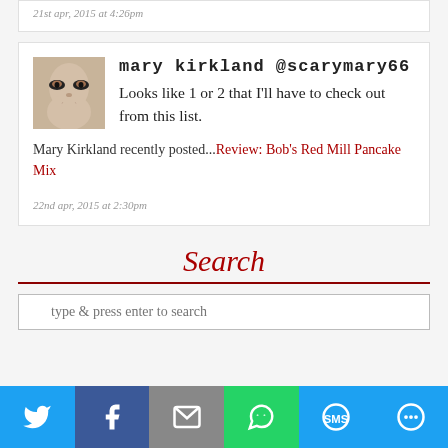21st apr, 2015 at 4:26pm
mary kirkland @scarymary66
Looks like 1 or 2 that I'll have to check out from this list.
Mary Kirkland recently posted...Review: Bob's Red Mill Pancake Mix
22nd apr, 2015 at 2:30pm
Search
type & press enter to search